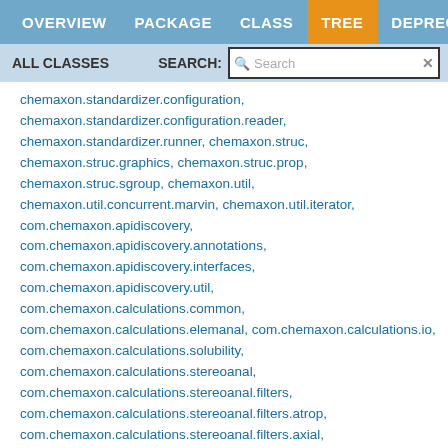OVERVIEW  PACKAGE  CLASS  TREE  DEPRECATED  INDEX
ALL CLASSES
SEARCH:  Search
chemaxon.standardizer.configuration, chemaxon.standardizer.configuration.reader, chemaxon.standardizer.runner, chemaxon.struc, chemaxon.struc.graphics, chemaxon.struc.prop, chemaxon.struc.sgroup, chemaxon.util, chemaxon.util.concurrent.marvin, chemaxon.util.iterator, com.chemaxon.apidiscovery, com.chemaxon.apidiscovery.annotations, com.chemaxon.apidiscovery.interfaces, com.chemaxon.apidiscovery.util, com.chemaxon.calculations.common, com.chemaxon.calculations.elemanal, com.chemaxon.calculations.io, com.chemaxon.calculations.solubility, com.chemaxon.calculations.steroanal, com.chemaxon.calculations.stereoanal.filters, com.chemaxon.calculations.stereoanal.filters.atrop, com.chemaxon.calculations.stereoanal.filters.axial, com.chemaxon.calculations.stereoanal.filters.cistrans, com.chemaxon.calculations.stereoanal.filters.tetrahedral, com.chemaxon.calculations.steroanal.stereocenters, com.chemaxon.calculations.stereoisomers, com.chemaxon.calculations.util,